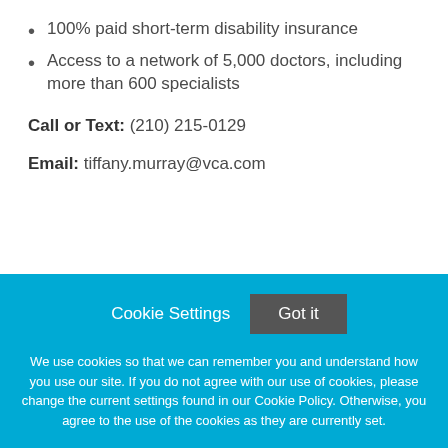100% paid short-term disability insurance
Access to a network of 5,000 doctors, including more than 600 specialists
Call or Text: (210) 215-0129
Email: tiffany.murray@vca.com
Cookie Settings  Got it
We use cookies so that we can remember you and understand how you use our site. If you do not agree with our use of cookies, please change the current settings found in our Cookie Policy. Otherwise, you agree to the use of the cookies as they are currently set.